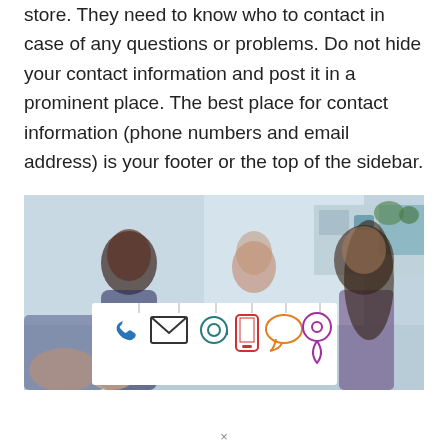store. They need to know who to contact in case of any questions or problems. Do not hide your contact information and post it in a prominent place. The best place for contact information (phone numbers and email address) is your footer or the top of the sidebar.
[Figure (photo): Office background photo with blurred people, overlaid with a white card showing contact icons: phone (blue), envelope (dark), at-sign (teal), mobile phone (red), speech bubble (orange), location pin (purple) — each hanging from a thin string.]
×